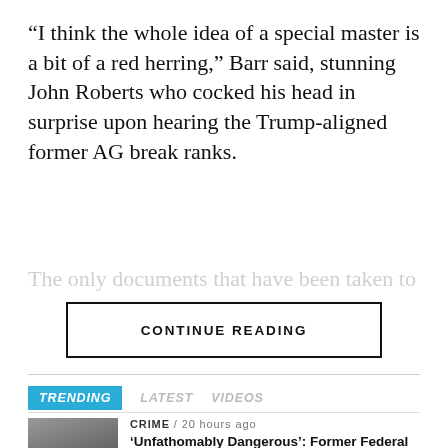“I think the whole idea of a special master is a bit of a red herring,” Barr said, stunning John Roberts who cocked his head in surprise upon hearing the Trump-aligned former AG break ranks.
The only documents that have been taken to a cour…
CONTINUE READING
TRENDING   LATEST   VIDEOS
CRIME / 20 hours ago
‘Unfathomably Dangerous’: Former Federal Prosecutor on Trump’s Empty Folders Warns ‘Things Just Went From Bad to Worse’
BREAKING NEWS / 21 hours ago